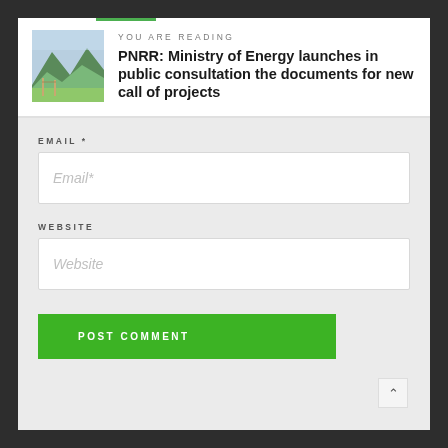YOU ARE READING
PNRR: Ministry of Energy launches in public consultation the documents for new call of projects
EMAIL *
Email*
WEBSITE
Website
POST COMMENT